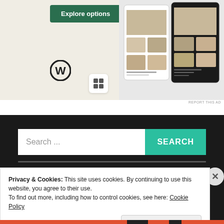[Figure (screenshot): Advertisement screenshot showing an 'Explore options' green button on a cream background, a WordPress logo, a small icon, and phone mockups displaying food/recipe website layouts with photos of dishes.]
REPORT THIS AD
Search ...
SEARCH
Privacy & Cookies: This site uses cookies. By continuing to use this website, you agree to their use.
To find out more, including how to control cookies, see here: Cookie Policy
Close and accept